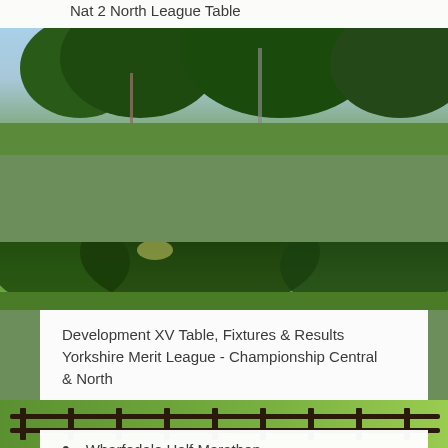Nat 2 North League Table
[Figure (photo): Outdoor rugby/sports ground with trees, sky, and floodlight pole]
Foresters Table, Fixtures & Results
Yorkshire Merit League - Premiership
[Figure (photo): Outdoor green landscape with trees and sunshine]
Development XV Table, Fixtures & Results
Yorkshire Merit League - Championship Central & North
[Figure (photo): Fence and grassy field with driveway, trees in background]
Wharfedale Half Marathon
[Figure (photo): Green field/grass background]